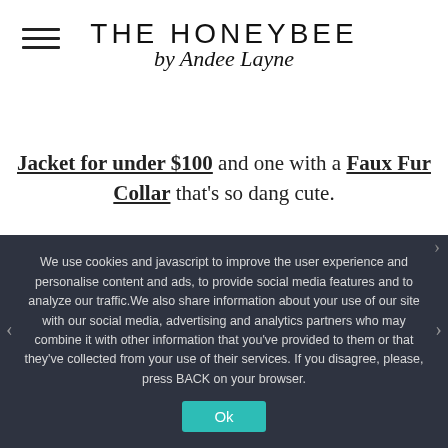THE HONEYBEE by Andee Layne
Jacket for under $100 and one with a Faux Fur Collar that's so dang cute.
[Figure (photo): Two product photos of denim jackets - left shows a woman wearing a plain denim jacket, right shows a woman wearing a denim jacket with faux fur collar]
We use cookies and javascript to improve the user experience and personalise content and ads, to provide social media features and to analyze our traffic.We also share information about your use of our site with our social media, advertising and analytics partners who may combine it with other information that you've provided to them or that they've collected from your use of their services. If you disagree, please, press BACK on your browser.
Ok